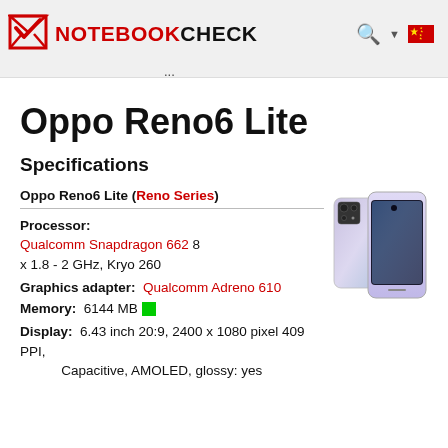NOTEBOOKCHECK — navigation header with search, language selector
Oppo Reno6 Lite
Specifications
Oppo Reno6 Lite (Reno Series)
Processor: Qualcomm Snapdragon 662 8 x 1.8 - 2 GHz, Kryo 260
Graphics adapter: Qualcomm Adreno 610
Memory: 6144 MB
Display: 6.43 inch 20:9, 2400 x 1080 pixel 409 PPI, Capacitive, AMOLED, glossy: yes
[Figure (photo): Oppo Reno6 Lite smartphone shown from front and back, purple/lavender color]